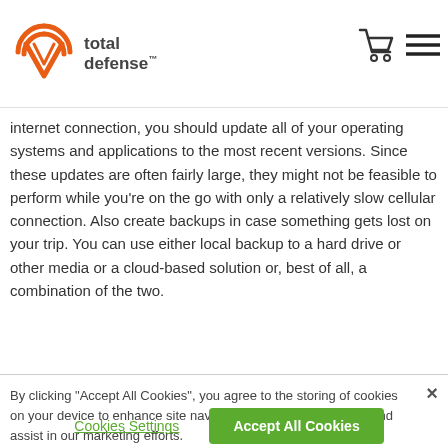total defense
internet connection, you should update all of your operating systems and applications to the most recent versions. Since these updates are often fairly large, they might not be feasible to perform while you’re on the go with only a relatively slow cellular connection. Also create backups in case something gets lost on your trip. You can use either local backup to a hard drive or other media or a cloud-based solution or, best of all, a combination of the two.
By clicking “Accept All Cookies”, you agree to the storing of cookies on your device to enhance site navigation, analyze site usage, and assist in our marketing efforts.
Cookies Settings
Accept All Cookies